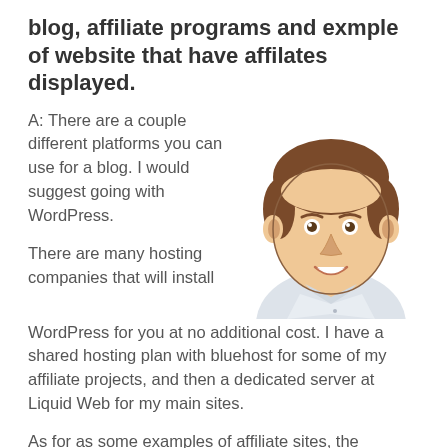blog, affiliate programs and exmple of website that have affilates displayed.
A: There are a couple different platforms you can use for a blog. I would suggest going with WordPress.
[Figure (illustration): Cartoon illustration of a smiling young man with brown hair wearing a white shirt, shown from shoulders up.]
There are many hosting companies that will install WordPress for you at no additional cost. I have a shared hosting plan with bluehost for some of my affiliate projects, and then a dedicated server at Liquid Web for my main sites.
As for as some examples of affiliate sites, the